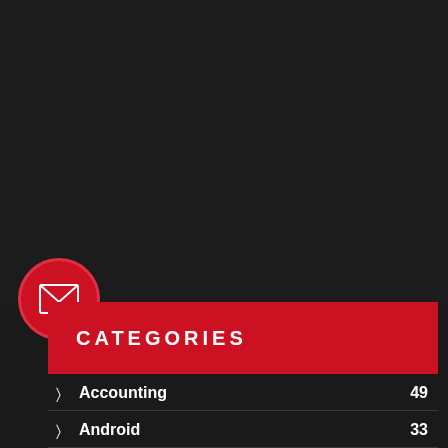[Figure (illustration): Red circular button with envelope/mail icon on dark background]
CATEGORIES
Accounting 49
Android 33
App Development 196